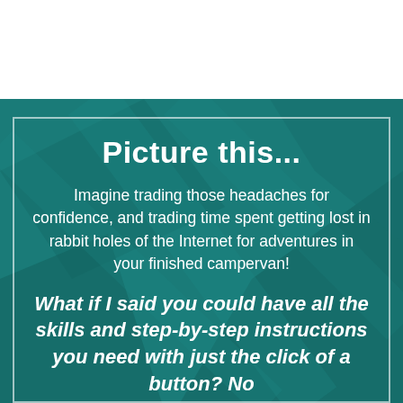Picture this...
Imagine trading those headaches for confidence, and trading time spent getting lost in rabbit holes of the Internet for adventures in your finished campervan!
What if I said you could have all the skills and step-by-step instructions you need with just the click of a button? No